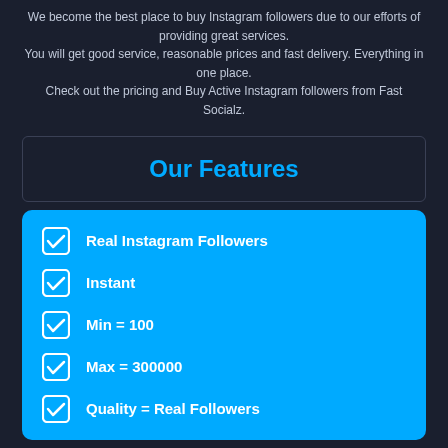We become the best place to buy Instagram followers due to our efforts of providing great services. You will get good service, reasonable prices and fast delivery. Everything in one place. Check out the pricing and Buy Active Instagram followers from Fast Socialz.
Our Features
Real Instagram Followers
Instant
Min = 100
Max = 300000
Quality = Real Followers